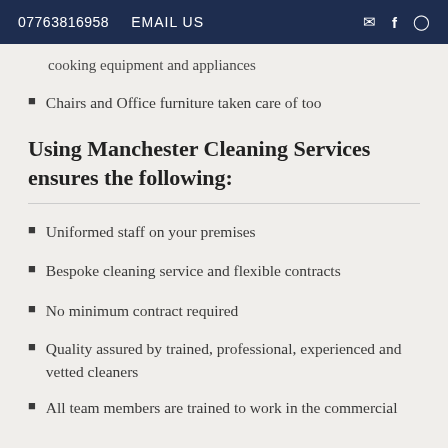07763816958  EMAIL US
cooking equipment and appliances
Chairs and Office furniture taken care of too
Using Manchester Cleaning Services ensures the following:
Uniformed staff on your premises
Bespoke cleaning service and flexible contracts
No minimum contract required
Quality assured by trained, professional, experienced and vetted cleaners
All team members are trained to work in the commercial